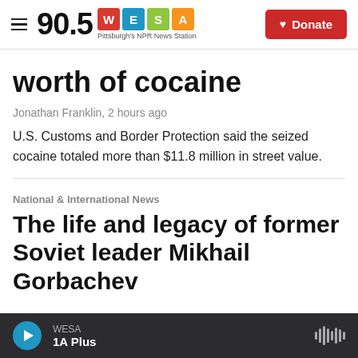90.5 WESA Pittsburgh's NPR News Station | Donate
worth of cocaine
Jonathan Franklin, 2 hours ago
U.S. Customs and Border Protection said the seized cocaine totaled more than $11.8 million in street value.
National & International News
The life and legacy of former Soviet leader Mikhail Gorbachev
WESA | 1A Plus